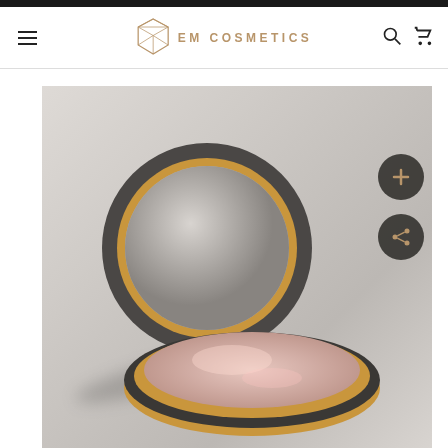EM COSMETICS
[Figure (photo): An open EM Cosmetics compact makeup case showing a round gold-rimmed compact with its lid propped open, revealing a shimmery pink powder inside. The compact is photographed on a light grey/white background with soft shadows. Two dark circular icon buttons (plus and share) are visible on the right side of the image.]